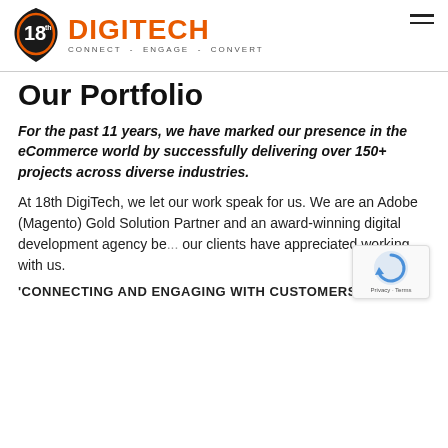[Figure (logo): 18th DigiTech logo with badge icon showing '18th' and orange DIGITECH text with tagline CONNECT - ENGAGE - CONVERT]
Our Portfolio
For the past 11 years, we have marked our presence in the eCommerce world by successfully delivering over 150+ projects across diverse industries.
At 18th DigiTech, we let our work speak for us. We are an Adobe (Magento) Gold Solution Partner and an award-winning digital development agency be... our clients have appreciated working with us.
'CONNECTING AND ENGAGING WITH CUSTOMERS IS OUR